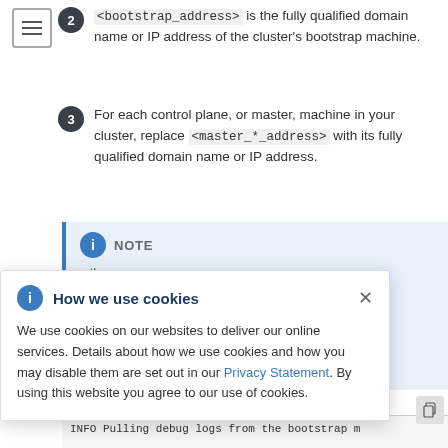2. <bootstrap_address> is the fully qualified domain name or IP address of the cluster's bootstrap machine.
3. For each control plane, or master, machine in your cluster, replace <master_*_address> with its fully qualified domain name or IP address.
NOTE
s three List all of ines as any your
How we use cookies
We use cookies on our websites to deliver our online services. Details about how we use cookies and how you may disable them are set out in our Privacy Statement. By using this website you agree to our use of cookies.
INFO Pulling debug logs from the bootstrap m